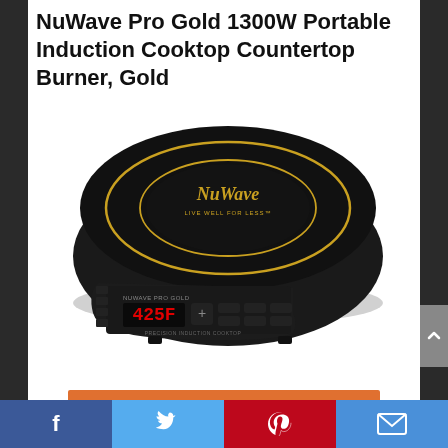NuWave Pro Gold 1300W Portable Induction Cooktop Countertop Burner, Gold
[Figure (photo): NuWave Pro Gold 1300W Portable Induction Cooktop Countertop Burner in black with gold branding and red LED digital display showing 425F]
[Figure (other): Orange CHECK PRICE button]
Facebook | Twitter | Pinterest | Email social share bar